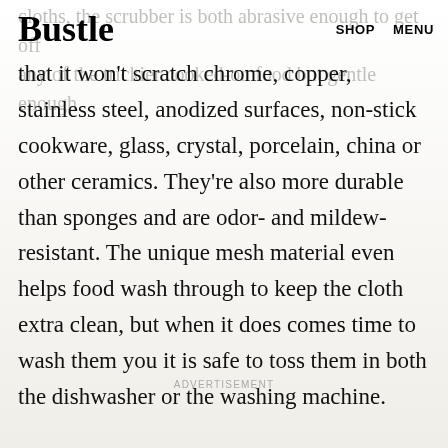Bustle  SHOP  MENU
cloths, the scrubber is both abrasive enough to get off any of the trickier cooked-on food but gentle enough that it won't scratch chrome, copper, stainless steel, anodized surfaces, non-stick cookware, glass, crystal, porcelain, china or other ceramics. They're also more durable than sponges and are odor- and mildew-resistant. The unique mesh material even helps food wash through to keep the cloth extra clean, but when it does comes time to wash them you it is safe to toss them in both the dishwasher or the washing machine.
ADVERTISEMENT